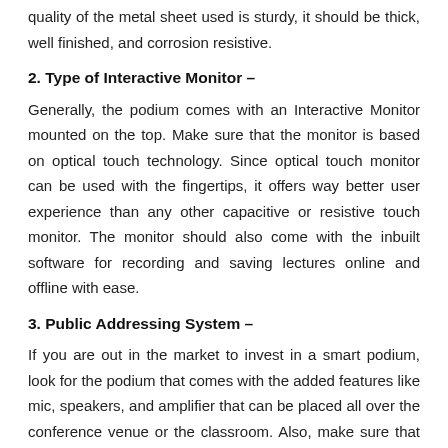quality of the metal sheet used is sturdy, it should be thick, well finished, and corrosion resistive.
2. Type of Interactive Monitor –
Generally, the podium comes with an Interactive Monitor mounted on the top. Make sure that the monitor is based on optical touch technology. Since optical touch monitor can be used with the fingertips, it offers way better user experience than any other capacitive or resistive touch monitor. The monitor should also come with the inbuilt software for recording and saving lectures online and offline with ease.
3. Public Addressing System –
If you are out in the market to invest in a smart podium, look for the podium that comes with the added features like mic, speakers, and amplifier that can be placed all over the conference venue or the classroom. Also, make sure that the mic and speakers offered are of high-end quality so that the